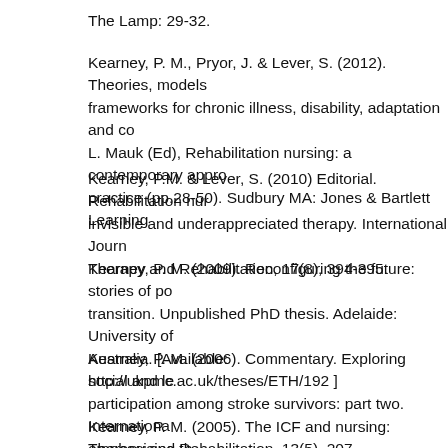The Lamp: 29-32.
Kearney, P. M., Pryor, J. & Lever, S. (2012). Theories, models and frameworks for chronic illness, disability, adaptation and co... L. Mauk (Ed), Rehabilitation nursing: a contemporary appro... practice (pp.28-50). Sudbury MA: Jones & Bartlett Learning...
Kearney, P.M. & Lever, S. (2010) Editorial. Rehabilitation nur... invisible and underappreciated therapy. International Journ... Therapy and Rehabilitation, 17(8), 394-395.
Kearney, P. M. (2009). Reconfiguring the future: stories of po... transition. Unpublished PhD thesis. Adelaide: University of Australia. [Available: http://ukpmc.ac.uk/theses/ETH/192]
Kearney, P. M. (2006). Commentary. Exploring social and le... participation among stroke survivors: part two. Internationa... Therapy and Rehabilitation, 13(5), 207.
Kearney, P. M. (2005). The ICF and nursing: emphasising th... JARNA. Journal of the Australasian Rehabilitation Nurses A...